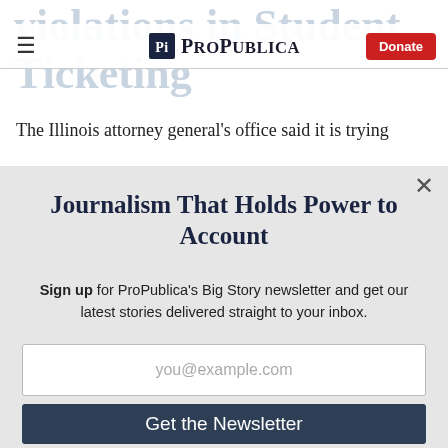ProPublica — Donate
violations in Student Ticketing
The Illinois attorney general's office said it is trying
Journalism That Holds Power to Account
Sign up for ProPublica's Big Story newsletter and get our latest stories delivered straight to your inbox.
you@example.com
Get the Newsletter
No thanks, I'm all set
This site is protected by reCAPTCHA and the Google Privacy Policy and Terms of Service apply.